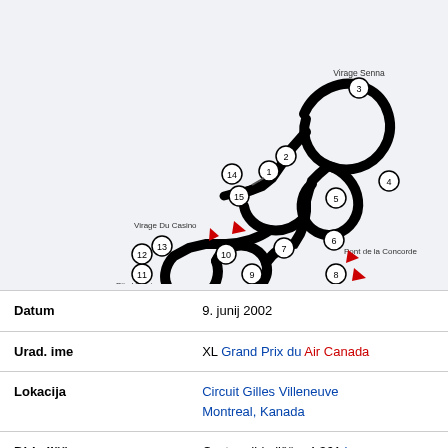[Figure (map): Circuit map of Circuit Gilles Villeneuve showing the track layout with numbered corners (1-15), labeled turns including Virage Senna, Virage Du Casino, Pont de la Concorde, and Pits Hairpin. Red arrows indicate direction. Black thick line shows the racing circuit on a light grey background.]
| Datum | 9. junij 2002 |
| Urad. ime | XL Grand Prix du Air Canada |
| Lokacija | Circuit Gilles Villeneuve
Montreal, Kanada |
| Dirkališče | Cestno dirkališče, 4,361 km |